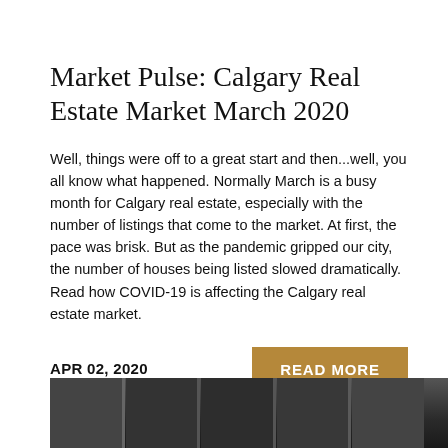Market Pulse: Calgary Real Estate Market March 2020
Well, things were off to a great start and then...well, you all know what happened. Normally March is a busy month for Calgary real estate, especially with the number of listings that come to the market. At first, the pace was brisk. But as the pandemic gripped our city, the number of houses being listed slowed dramatically. Read how COVID-19 is affecting the Calgary real estate market.
APR 02, 2020
READ MORE
[Figure (photo): Bottom strip showing a dark interior room photograph, partially visible, with window and column/pillar elements visible in a dark grey tone.]